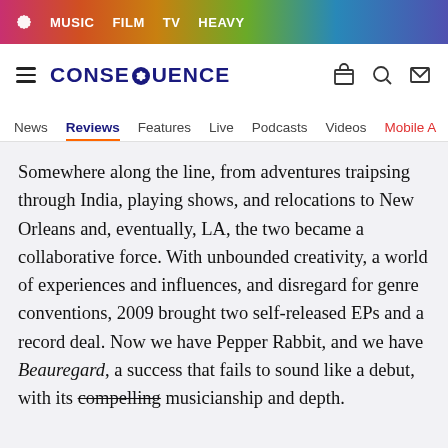MUSIC  FILM  TV  HEAVY
[Figure (logo): Consequence of Sound logo with flower/snowflake icon and navigation icons]
News  Reviews  Features  Live  Podcasts  Videos  Mobile A
Somewhere along the line, from adventures traipsing through India, playing shows, and relocations to New Orleans and, eventually, LA, the two became a collaborative force. With unbounded creativity, a world of experiences and influences, and disregard for genre conventions, 2009 brought two self-released EPs and a record deal. Now we have Pepper Rabbit, and we have Beauregard, a success that fails to sound like a debut, with its compelling musicianship and depth.